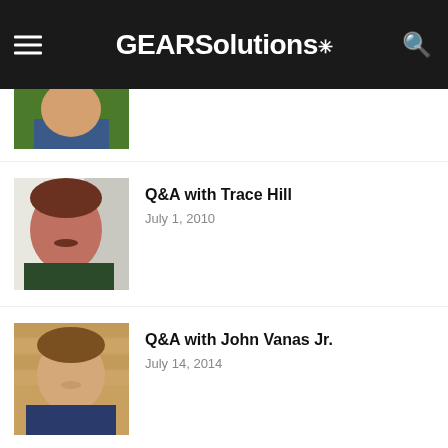GEARSolutions
[Figure (photo): Partial photo of a man in blue shirt, cropped at top]
[Figure (photo): Photo of Trace Hill, a man with reddish complexion and mustache]
Q&A with Trace Hill
July 1, 2010
[Figure (photo): Photo of John Vanas Jr., a man in front of brick wall]
Q&A with John Vanas Jr.
July 14, 2014
[Figure (photo): Photo of Jeffrey L. Lay, a man with beard]
Q&A with Jeffrey L. Lay
November 1, 2004